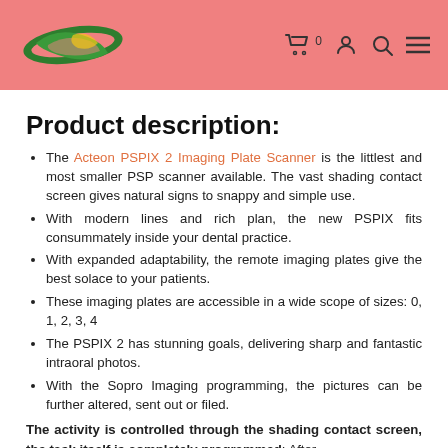[Logo] [Cart] [Account] [Search] [Menu]
Product description:
The Acteon PSPIX 2 Imaging Plate Scanner is the littlest and most smaller PSP scanner available. The vast shading contact screen gives natural signs to snappy and simple use.
With modern lines and rich plan, the new PSPIX fits consummately inside your dental practice.
With expanded adaptability, the remote imaging plates give the best solace to your patients.
These imaging plates are accessible in a wide scope of sizes: 0, 1, 2, 3, 4
The PSPIX 2 has stunning goals, delivering sharp and fantastic intraoral photos.
With the Sopro Imaging programming, the pictures can be further altered, sent out or filed.
The activity is controlled through the shading contact screen, the task itself is completely programmed: After